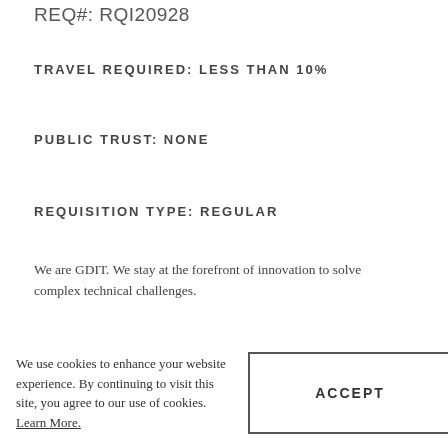REQ#: RQI20928
TRAVEL REQUIRED: LESS THAN 10%
PUBLIC TRUST: NONE
REQUISITION TYPE: REGULAR
We are GDIT. We stay at the forefront of innovation to solve complex technical challenges.
GDIT is your place. Make it your own by discovering new ways to securely and expertly apply the latest
We use cookies to enhance your website experience. By continuing to visit this site, you agree to our use of cookies. Learn More.
ACCEPT